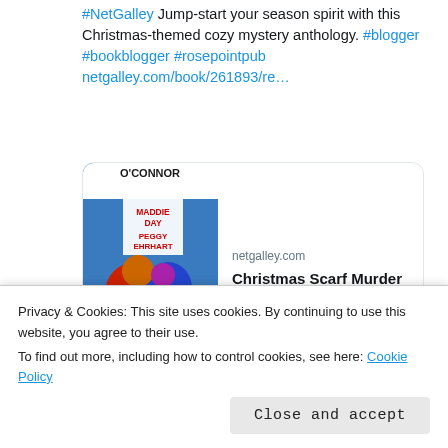#NetGalley Jump-start your season spirit with this Christmas-themed cozy mystery anthology. #blogger #bookblogger #rosepointpub netgalley.com/book/261893/re…
[Figure (screenshot): Link card preview for netgalley.com showing Christmas Scarf Murder book cover and title]
[Figure (illustration): Comment and heart (like) action icons below tweet]
V Williams @ginstweeter · Aug 16 — 4 of 5 stars to Christmas Scarf Murder by
Privacy & Cookies: This site uses cookies. By continuing to use this website, you agree to their use. To find out more, including how to control cookies, see here: Cookie Policy
Close and accept